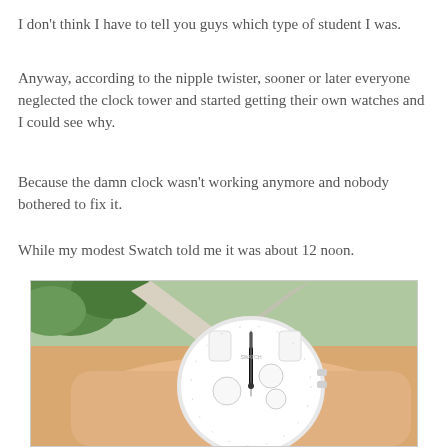I don't think I have to tell you guys which type of student I was.
Anyway, according to the nipple twister, sooner or later everyone neglected the clock tower and started getting their own watches and I could see why.
Because the damn clock wasn't working anymore and nobody bothered to fix it.
While my modest Swatch told me it was about 12 noon.
[Figure (photo): A white Swatch chronograph watch worn on a wrist, photographed outdoors with green foliage and architectural elements in the background.]